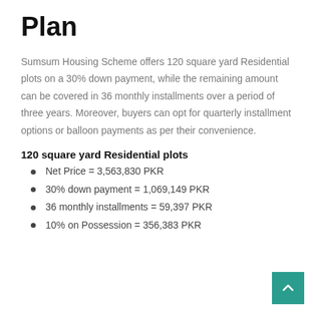Plan
Sumsum Housing Scheme offers 120 square yard Residential plots on a 30% down payment, while the remaining amount can be covered in 36 monthly installments over a period of three years. Moreover, buyers can opt for quarterly installment options or balloon payments as per their convenience.
120 square yard Residential plots
Net Price = 3,563,830 PKR
30% down payment = 1,069,149 PKR
36 monthly installments = 59,397 PKR
10% on Possession = 356,383 PKR